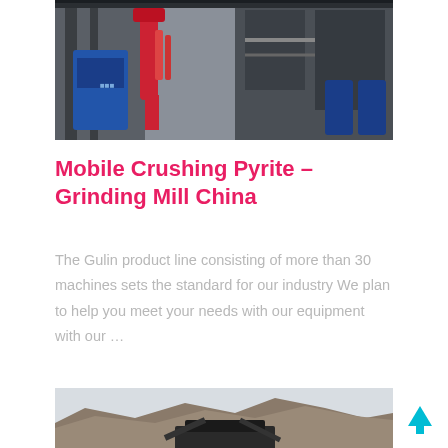[Figure (photo): Industrial mining/crushing machine with red mechanical arm and blue/grey equipment in a factory setting]
Mobile Crushing Pyrite – Grinding Mill China
The Gulin product line consisting of more than 30 machines sets the standard for our industry We plan to help you meet your needs with our equipment with our …
[Figure (photo): Outdoor mining site with rock face/hillside and industrial crushing equipment]
[Figure (illustration): Cyan/turquoise upward arrow scroll-to-top button]